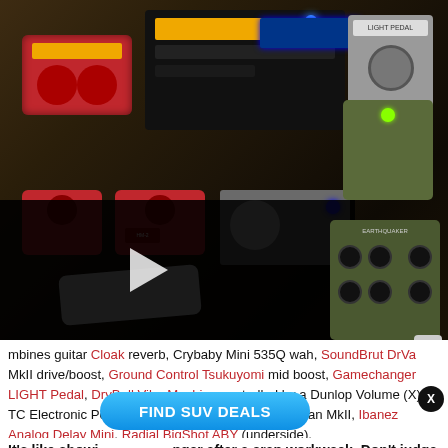[Figure (photo): Overhead view of a guitar effects pedal board with multiple pedals including red BOSS pedals, a black multi-effect unit, a Light Pedal, and other effects pedals. A video thumbnail with a dark overlay and play button is visible in the lower-left portion showing a wah pedal.]
...mbines guitar ...Cloak reverb, Crybaby Mini 535Q wah, SoundBrut DrVa MkII drive/boost, Ground Control Tsukuyomi mid boost, Gamechanger LIGHT Pedal, DryBell Vibe Machine controlled by a Dunlop Volume (X), TC Electronic PolyTune Mini, SolidgoldFX Electroman MkII, Ibanez Analog Delay Mini, Radial BigShot ABY (underside).
[Figure (other): FIND SUV DEALS advertisement button overlay]
It's like showi...nger after a crap workweek. Don't judge me.